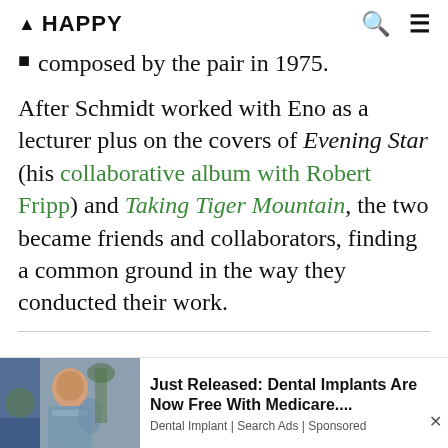▲ HAPPY
composed by the pair in 1975.
After Schmidt worked with Eno as a lecturer plus on the covers of Evening Star (his collaborative album with Robert Fripp) and Taking Tiger Mountain, the two became friends and collaborators, finding a common ground in the way they conducted their work.
[Figure (photo): Advertisement showing a woman smiling outdoors near a tree, for a dental implants promotion.]
Just Released: Dental Implants Are Now Free With Medicare.... Dental Implant | Search Ads | Sponsored